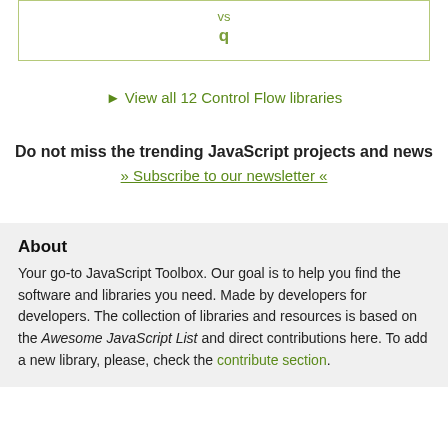| vs |
| q |
▶ View all 12 Control Flow libraries
Do not miss the trending JavaScript projects and news
» Subscribe to our newsletter «
About
Your go-to JavaScript Toolbox. Our goal is to help you find the software and libraries you need. Made by developers for developers. The collection of libraries and resources is based on the Awesome JavaScript List and direct contributions here. To add a new library, please, check the contribute section.